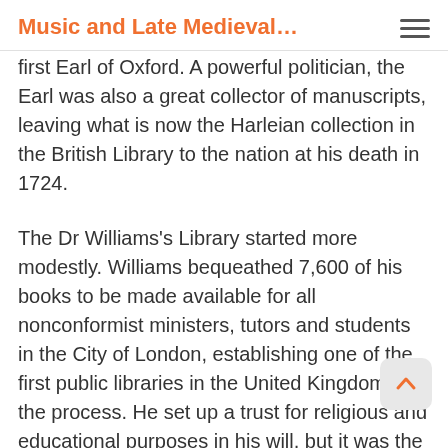Music and Late Medieval…
first Earl of Oxford. A powerful politician, the Earl was also a great collector of manuscripts, leaving what is now the Harleian collection in the British Library to the nation at his death in 1724.
The Dr Williams's Library started more modestly. Williams bequeathed 7,600 of his books to be made available for all nonconformist ministers, tutors and students in the City of London, establishing one of the first public libraries in the United Kingdom in the process. He set up a trust for religious and educational purposes in his will, but it was the commitment and